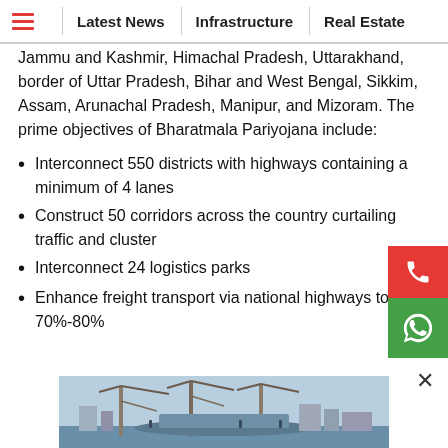Latest News | Infrastructure | Real Estate
Jammu and Kashmir, Himachal Pradesh, Uttarakhand, border of Uttar Pradesh, Bihar and West Bengal, Sikkim, Assam, Arunachal Pradesh, Manipur, and Mizoram. The prime objectives of Bharatmala Pariyojana include:
Interconnect 550 districts with highways containing a minimum of 4 lanes
Construct 50 corridors across the country curtailing traffic and cluster
Interconnect 24 logistics parks
Enhance freight transport via national highways to 70%-80%
[Figure (photo): Construction site with cranes and industrial infrastructure at a port or shipyard]